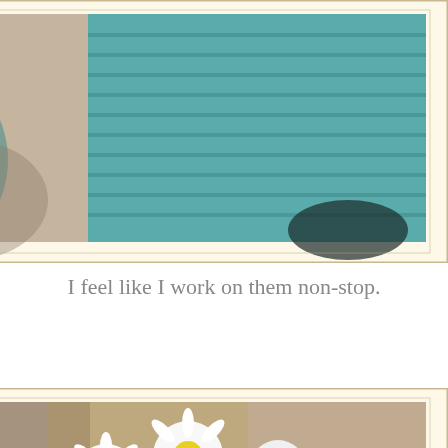[Figure (photo): Close-up photo of teal/turquoise knitted or crocheted fabric with a teapot partially visible, displayed in a vintage polaroid-style frame with cream border and decorative torn edges]
I feel like I work on them non-stop.
[Figure (photo): Photo of a white ceramic teapot with blue floral design filled with white daisy flowers, sitting on teal knitted fabric, with a white bird figurine in foreground, displayed in a vintage polaroid-style frame with cream border and decorative torn edges]